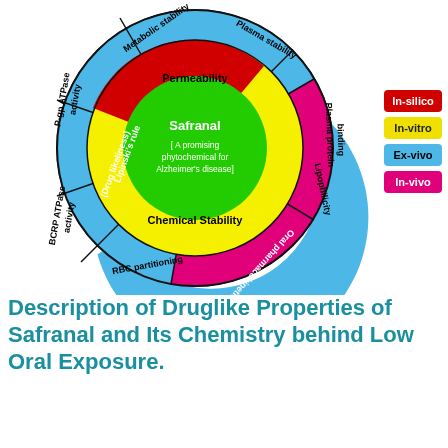[Figure (infographic): Circular diagram showing druglike properties of Safranal. Center green circle: 'Safranal [A promising phytochemical for Alzheimer's disease]'. Middle yellow ring: Permeability (top), Chemical Stability (bottom). Red segment: Lipinski's rule (Drug likeliness). Outer blue ring segments: Metabolic stability, Plasma stability, Plasma protein binding, Lipophilicity, Oral pharmacokinetics (magenta), RBC partitioning, BCRP ATPase activity, P-gp ATPase activity. Legend: In-silico (red), In-vitro (yellow), Ex-vivo (blue), In-vivo (magenta).]
Description of Druglike Properties of Safranal and Its Chemistry behind Low Oral Exposure.